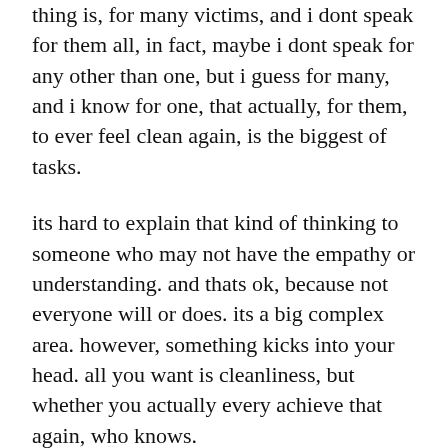thing is, for many victims, and i dont speak for them all, in fact, maybe i dont speak for any other than one, but i guess for many, and i know for one, that actually, for them, to ever feel clean again, is the biggest of tasks.
its hard to explain that kind of thinking to someone who may not have the empathy or understanding. and thats ok, because not everyone will or does. its a big complex area. however, something kicks into your head. all you want is cleanliness, but whether you actually every achieve that again, who knows.
because the way you see it, the only way you can see it, is that something you had absolutely no choice over happens, took over, and that some of you was taken away.
you spend weeks and months trying to wipe it away,